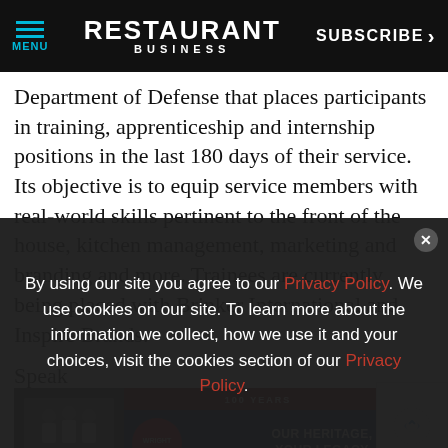MENU | RESTAURANT BUSINESS | SUBSCRIBE >
Department of Defense that places participants in training, apprenticeship and internship positions in the last 180 days of their service. Its objective is to equip service members with real-world skills pertinent to the front of the house, kitchen management, marketing and branding and more. Trainees are currently being placed with Brinker International and Inspire Brands.
Speaking at this year's CRA Culinary Competition, which one of the
[Figure (advertisement): Wright Brand advertisement banner: '100 Years - Our Heritage, Your Legacy' with photo of chefs and food]
By using our site you agree to our Privacy Policy. We use cookies on our site. To learn more about the information we collect, how we use it and your choices, visit the cookies section of our Privacy Policy.